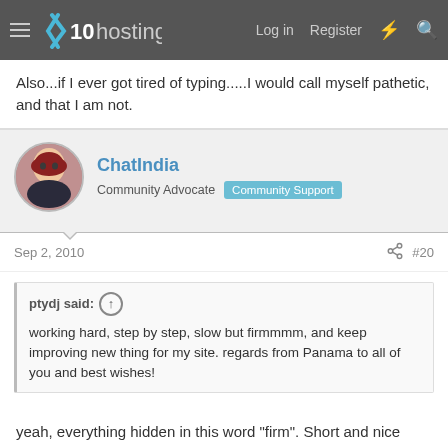x10hosting — Log in  Register
Also...if I ever got tired of typing.....I would call myself pathetic, and that I am not.
ChatIndia
Community Advocate  Community Support
Sep 2, 2010  #20
ptydj said: ↑
working hard, step by step, slow but firmmmm, and keep improving new thing for my site. regards from Panama to all of you and best wishes!
yeah, everything hidden in this word "firm". Short and nice answer. This world of internet is so weird, I can't understand it.